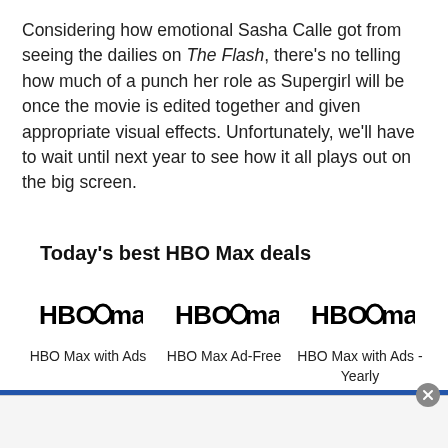Considering how emotional Sasha Calle got from seeing the dailies on The Flash, there's no telling how much of a punch her role as Supergirl will be once the movie is edited together and given appropriate visual effects. Unfortunately, we'll have to wait until next year to see how it all plays out on the big screen.
Today's best HBO Max deals
[Figure (logo): HBO Max logo - first instance]
[Figure (logo): HBO Max logo - second instance]
[Figure (logo): HBO Max logo - third instance]
HBO Max with Ads
HBO Max Ad-Free
HBO Max with Ads - Yearly